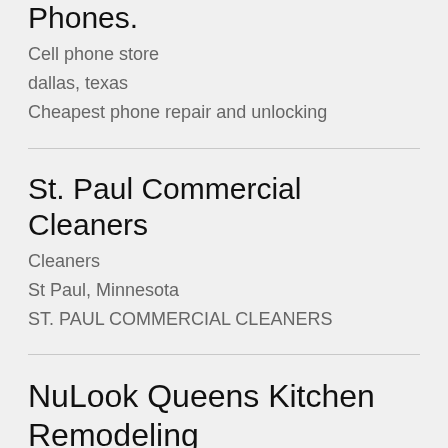Phones.
Cell phone store
dallas, texas
Cheapest phone repair and unlocking
St. Paul Commercial Cleaners
Cleaners
St Paul, Minnesota
ST. PAUL COMMERCIAL CLEANERS
NuLook Queens Kitchen Remodeling
Kitchen remodeler
Queens, New York